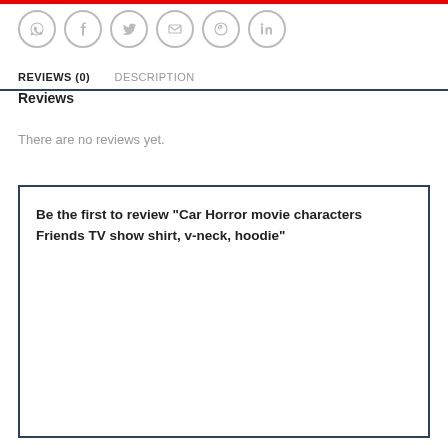[Figure (other): Social sharing icons: WhatsApp, Facebook, Twitter, Email, Pinterest, LinkedIn — circular gray outlined buttons]
REVIEWS (0)
DESCRIPTION
Reviews
There are no reviews yet.
Be the first to review “Car Horror movie characters Friends TV show shirt, v-neck, hoodie”